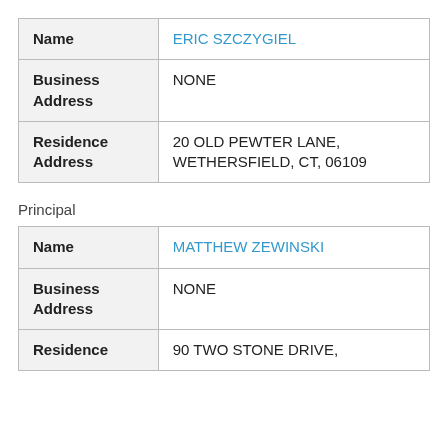|  |  |
| --- | --- |
| Name | ERIC SZCZYGIEL |
| Business Address | NONE |
| Residence Address | 20 OLD PEWTER LANE, WETHERSFIELD, CT, 06109 |
Principal
|  |  |
| --- | --- |
| Name | MATTHEW ZEWINSKI |
| Business Address | NONE |
| Residence | 90 TWO STONE DRIVE, |